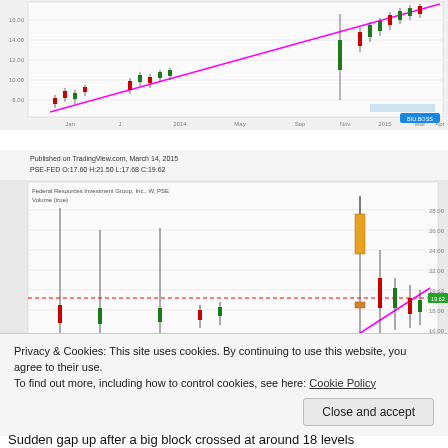[Figure (continuous-plot): Candlestick stock chart with an upward-sloping magenta trendline. X-axis shows dates from approximately Jan 2014 through Apr 2016. Y-axis shows price from about 6 to 16. Volume bars visible at the bottom.]
[Figure (continuous-plot): Candlestick chart for Federal Resources Investment Group, Inc., W, PSE published on TradingView.com March 14, 2015. PSE-FED O:17.60 H:21.50 L:17.68 C:19.62. Shows a horizontal red dashed support/resistance line, a large spike candle with an orange/yellow body near the right, and a magenta upward trendline. Y-axis shows price from about 14 to 28.]
Privacy & Cookies: This site uses cookies. By continuing to use this website, you agree to their use.
To find out more, including how to control cookies, see here: Cookie Policy
Sudden gap up after a big block crossed at around 18 levels